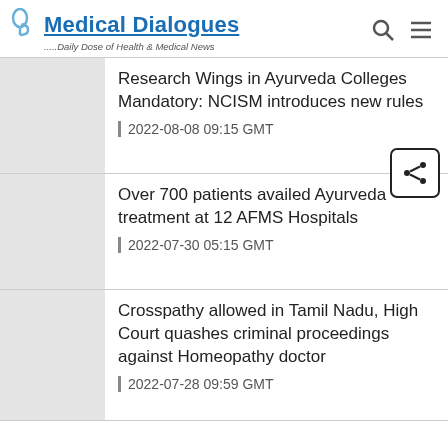Medical Dialogues - Daily Dose of Health & Medical News
Research Wings in Ayurveda Colleges Mandatory: NCISM introduces new rules
2022-08-08 09:15 GMT
Over 700 patients availed Ayurveda treatment at 12 AFMS Hospitals
2022-07-30 05:15 GMT
Crosspathy allowed in Tamil Nadu, High Court quashes criminal proceedings against Homeopathy doctor
2022-07-28 09:59 GMT